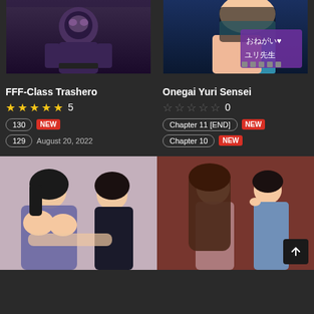[Figure (illustration): Manga cover for FFF-Class Trashero showing a dark armored character]
FFF-Class Trashero
★★★★★ 5
130 NEW
129 August 20, 2022
[Figure (illustration): Manga cover for Onegai Yuri Sensei showing anime characters with Japanese text]
Onegai Yuri Sensei
☆☆☆☆☆ 0
Chapter 11 [END] NEW
Chapter 10 NEW
[Figure (illustration): Manga cover showing two characters in an intimate scene]
[Figure (illustration): Manga cover showing a girl and boy facing away from each other]